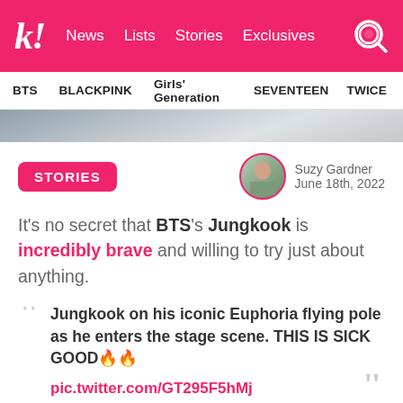k! News Lists Stories Exclusives
BTS  BLACKPINK  Girls' Generation  SEVENTEEN  TWICE
[Figure (photo): Partial photo strip visible at top of content]
STORIES
Suzy Gardner
June 18th, 2022
It's no secret that BTS's Jungkook is incredibly brave and willing to try just about anything.
Jungkook on his iconic Euphoria flying pole as he enters the stage scene. THIS IS SICK GOOD🔥🔥
pic.twitter.com/GT295F5hMj